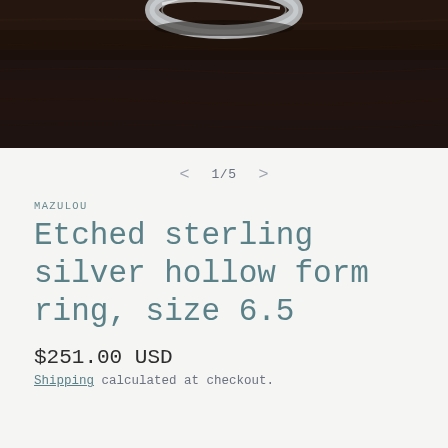[Figure (photo): Partial view of an etched sterling silver ring resting on a dark wood surface. The silver ring is visible at the top center of the image against a dark brown wooden background.]
1/5
MAZULOU
Etched sterling silver hollow form ring, size 6.5
$251.00 USD
Shipping calculated at checkout.